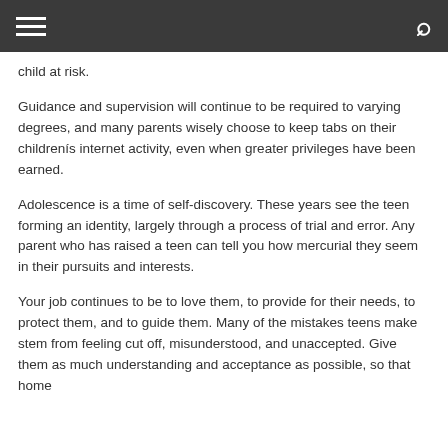child at risk.
Guidance and supervision will continue to be required to varying degrees, and many parents wisely choose to keep tabs on their childrens internet activity, even when greater privileges have been earned.
Adolescence is a time of self-discovery. These years see the teen forming an identity, largely through a process of trial and error. Any parent who has raised a teen can tell you how mercurial they seem in their pursuits and interests.
Your job continues to be to love them, to provide for their needs, to protect them, and to guide them. Many of the mistakes teens make stem from feeling cut off, misunderstood, and unaccepted. Give them as much understanding and acceptance as possible, so that home